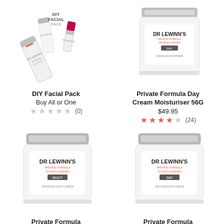[Figure (photo): DIY Facial Pack product image showing tubes and a lipstick-style product on white background]
DIY Facial Pack
Buy All or One
(0)
[Figure (photo): Dr. LeWinn's Private Formula Day Cream Moisturiser 56G jar on white background]
Private Formula Day Cream Moisturiser 56G
$49.95
(24)
[Figure (photo): Dr. LeWinn's Private Formula Advanced Night Cream jar on white background]
Private Formula Advanced Night Cream 56G
[Figure (photo): Dr. LeWinn's Private Formula Vitamin A Rejuvenation Cream jar on white background]
Private Formula Vitamin A Rejuvenation Cream